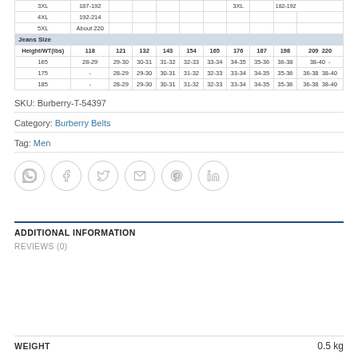| Jeans Size |  |  |  |  |  |  |  |  |  |  |
| --- | --- | --- | --- | --- | --- | --- | --- | --- | --- | --- |
| Height/WT(lbs) | 118 | 121 | 132 | 143 | 154 | 165 | 176 | 187 | 198 | 209 | 220 |
| 165 | 28-29 | 29-30 | 30-31 | 31-32 | 32-33 | 33-34 | 34-35 | 35-36 | 36-38 | 38-40 | - |
| 175 | - | 28-29 | 29-30 | 30-31 | 31-32 | 32-33 | 33-34 | 34-35 | 35-36 | 36-38 | 38-40 |
| 185 | - | 28-29 | 29-30 | 30-31 | 31-32 | 32-33 | 33-34 | 34-35 | 35-36 | 36-38 | 38-40 |
SKU: Burberry-T-54397
Category: Burberry Belts
Tag: Men
[Figure (infographic): Row of 6 social sharing icon circles: WhatsApp, Facebook, Twitter, Email, Pinterest, LinkedIn]
ADDITIONAL INFORMATION
REVIEWS (0)
| WEIGHT | 0.5 kg |
| --- | --- |